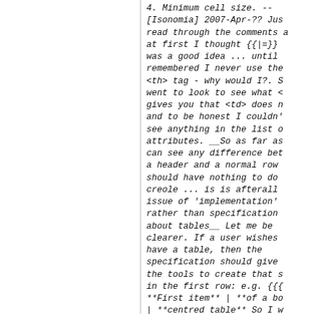4. Minimum cell size. --[Isonomia] 2007-Apr-?? Just read through the comments and at first I thought {{|=}} was a good idea ... until I remembered I never use the <th> tag - why would I?. So went to look to see what <th> gives you that <td> does not, and to be honest I couldn't see anything in the list of attributes. __So as far as I can see any difference between a header and a normal row cell should have nothing to do with creole ... is is afterall an issue of 'implementation' rather than specification about tables__ Let me be clearer. If a user wishes to have a table, then the specification should give her the tools to create that style in the first row: e.g. {{{|= **First item** | **of a bold** | **centred table** So I w...